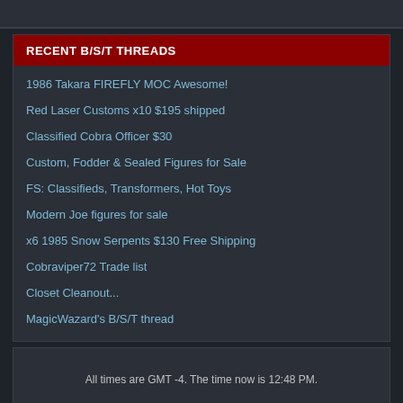RECENT B/S/T THREADS
1986 Takara FIREFLY MOC Awesome!
Red Laser Customs x10 $195 shipped
Classified Cobra Officer $30
Custom, Fodder & Sealed Figures for Sale
FS: Classifieds, Transformers, Hot Toys
Modern Joe figures for sale
x6 1985 Snow Serpents $130 Free Shipping
Cobraviper72 Trade list
Closet Cleanout...
MagicWazard's B/S/T thread
All times are GMT -4. The time now is 12:48 PM.
Powered by vBadvanced CMPS v%1$s Powered by vBulletin
Copyright ©2000 - 2022, Jelsoft Enterprises Ltd.